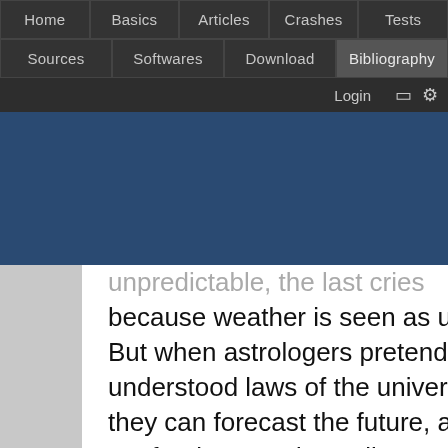Home | Basics | Articles | Crashes | Tests | Sources | Softwares | Download | Bibliography | Login
unpredictable. But when astrologers pretend to have understood laws of the universe to the extent they can forecast the future, any mistake is not forgiven, and usually casts a doubt on the whole art. Not to mention unhappy customers… Karl Ernst Krafft, Hitler astrologer's, predicted doom if the war was not won before 1942 , triggering the wrath of his irascible employer, who sent him to his death in Buchenwald. You need to